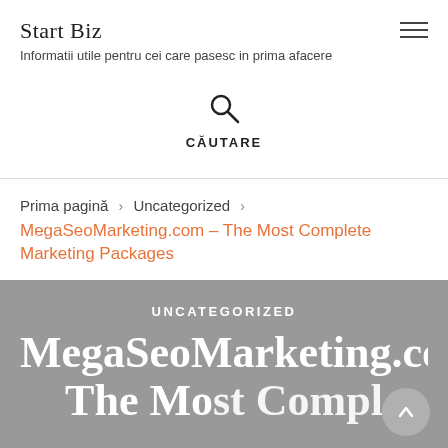Start Biz
Informatii utile pentru cei care pasesc in prima afacere
[Figure (other): Search icon (magnifying glass) with label CĂUTARE below]
Prima pagină > Uncategorized > MegaSeoMarketing.com – The Most Complete Marketing Packages
UNCATEGORIZED
MegaSeoMarketing.com – The Most Complete Marketing Packages